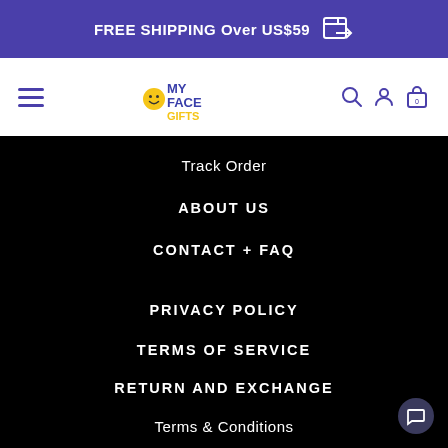FREE SHIPPING Over US$59
[Figure (logo): MyFaceGifts logo with smiley face emoji icon, colorful text in yellow and blue]
Track Order
ABOUT US
CONTACT + FAQ
PRIVACY POLICY
TERMS OF SERVICE
RETURN AND EXCHANGE
Terms & Conditions